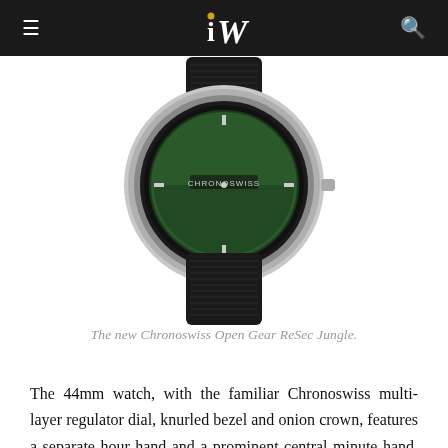iW
[Figure (photo): Top-down view of the Chronoswiss Open Gear ReSec Jungle watch, showing a green dial with gear mechanism and black textile strap]
The new Chronoswiss Open Gear ReSec Jungle.
The 44mm watch, with the familiar Chronoswiss multi-layer regulator dial, knurled bezel and onion crown, features a separate hour hand and a prominent central minute hand. Named for its premier function (ReSec stands for Retrograde Seconds), the watch's jumping seconds hand along the lower half of the dial operates in a half-circle, leaping from the thirty seconds position back to start its arc to complete counting each minute.